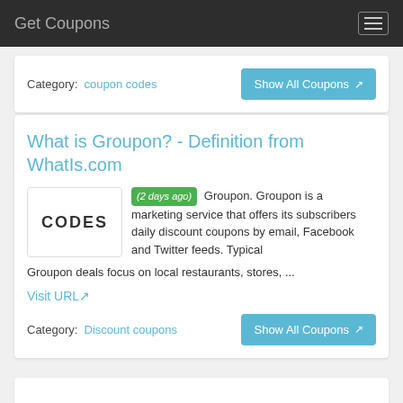Get Coupons
Category: coupon codes
What is Groupon? - Definition from WhatIs.com
(2 days ago) Groupon. Groupon is a marketing service that offers its subscribers daily discount coupons by email, Facebook and Twitter feeds. Typical Groupon deals focus on local restaurants, stores, ...
Visit URL
Category: Discount coupons